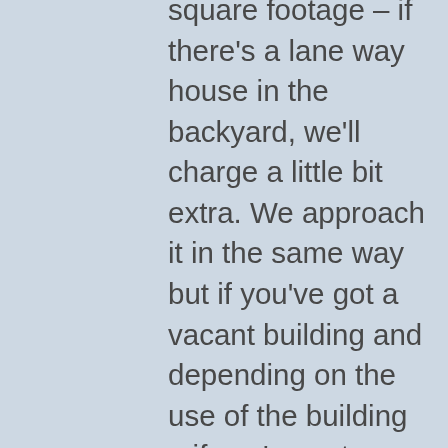square footage – if there's a lane way house in the backyard, we'll charge a little bit extra. We approach it in the same way but if you've got a vacant building and depending on the use of the building – if you've got a metal plating facility obviously we're going to have to bring in some contractors to take a look a little more in depth. It really depends on the use of the building. Best way is to call us for a quote. Usually for a small restaurant you're probably looking at around $1200, for a larger warehouse it could be $1000 depending on the size of the building and what it's being used for.